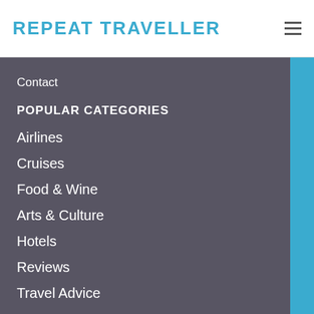REPEAT TRAVELLER
Contact
POPULAR CATEGORIES
Airlines
Cruises
Food & Wine
Arts & Culture
Hotels
Reviews
Travel Advice